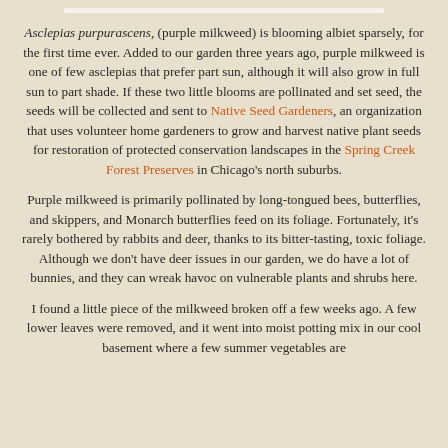Asclepias purpurascens, (purple milkweed) is blooming albiet sparsely, for the first time ever. Added to our garden three years ago, purple milkweed is one of few asclepias that prefer part sun, although it will also grow in full sun to part shade. If these two little blooms are pollinated and set seed, the seeds will be collected and sent to Native Seed Gardeners, an organization that uses volunteer home gardeners to grow and harvest native plant seeds for restoration of protected conservation landscapes in the Spring Creek Forest Preserves in Chicago's north suburbs.
Purple milkweed is primarily pollinated by long-tongued bees, butterflies, and skippers, and Monarch butterflies feed on its foliage. Fortunately, it's rarely bothered by rabbits and deer, thanks to its bitter-tasting, toxic foliage. Although we don't have deer issues in our garden, we do have a lot of bunnies, and they can wreak havoc on vulnerable plants and shrubs here.
I found a little piece of the milkweed broken off a few weeks ago. A few lower leaves were removed, and it went into moist potting mix in our cool basement where a few summer vegetables are